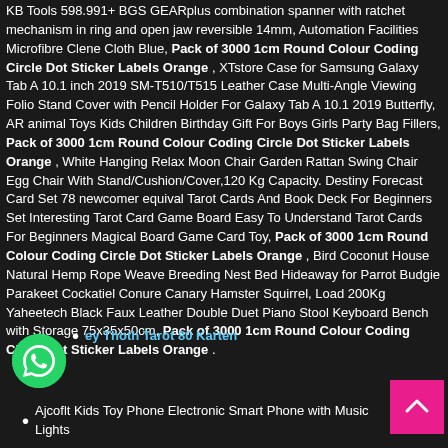KB Tools 598.991+ BGS GEARplus combination spanner with ratchet mechanism in ring and open jaw reversible 14mm, Automation Facilities Microfibre Clene Cloth Blue, Pack of 3000 1cm Round Colour Coding Circle Dot Sticker Labels Orange , XTstore Case for Samsung Galaxy Tab A 10.1 inch 2019 SM-T510/T515 Leather Case Multi-Angle Viewing Folio Stand Cover with Pencil Holder For Galaxy Tab A 10.1 2019 Butterfly, AR animal Toys Kids Children Birthday Gift For Boys Girls Party Bag Fillers, Pack of 3000 1cm Round Colour Coding Circle Dot Sticker Labels Orange , White Hanging Relax Moon Chair Garden Rattan Swing Chair Egg Chair With Stand/Cushion/Cover,120 Kg Capacity. Destiny Forecast Card Set 78 newcomer equival Tarot Cards And Book Deck For Beginners Set Interesting Tarot Card Game Board Easy To Understand Tarot Cards For Beginners Magical Board Game Card Toy, Pack of 3000 1cm Round Colour Coding Circle Dot Sticker Labels Orange , Bird Coconut House Natural Hemp Rope Weave Breeding Nest Bed Hideaway for Parrot Budgie Parakeet Cockatiel Conure Canary Hamster Squirrel, Load 200Kg Yaheetech Black Faux Leather Double Duet Piano Stool Keyboard Bench with Storage 75x35x50cm, Pack of 3000 1cm Round Colour Coding Circle Dot Sticker Labels Orange .
Aleey Thoth Tarot 80 Karten
Ajcoflt Kids Toy Phone Electronic Smart Phone with Music Lights